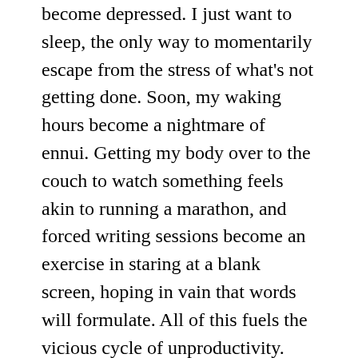become depressed. I just want to sleep, the only way to momentarily escape from the stress of what's not getting done. Soon, my waking hours become a nightmare of ennui. Getting my body over to the couch to watch something feels akin to running a marathon, and forced writing sessions become an exercise in staring at a blank screen, hoping in vain that words will formulate. All of this fuels the vicious cycle of unproductivity.
There's a misconception that creatives are at their best when in the throws of depression. It plays into the fantasy of the tortured soul funneling their demons into a masterpiece, something our pop culture has romanticized into sex appeal. Well, there's nothing sexy